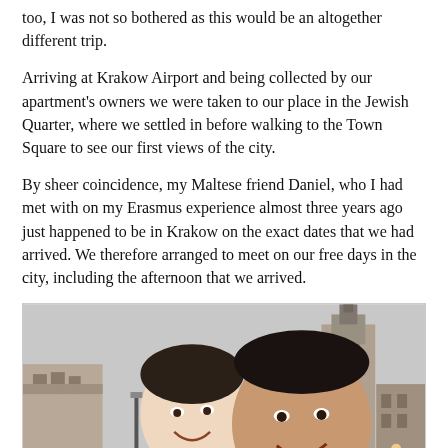too, I was not so bothered as this would be an altogether different trip.
Arriving at Krakow Airport and being collected by our apartment's owners we were taken to our place in the Jewish Quarter, where we settled in before walking to the Town Square to see our first views of the city.
By sheer coincidence, my Maltese friend Daniel, who I had met with on my Erasmus experience almost three years ago just happened to be in Krakow on the exact dates that we had arrived. We therefore arranged to meet on our free days in the city, including the afternoon that we arrived.
[Figure (photo): Selfie of two men smiling in Krakow's Town Square, with historic buildings and a tall tower visible in the background. One man wears a dark jacket and scarf, the other wears a dark jacket. The setting appears to be a cold winter day.]